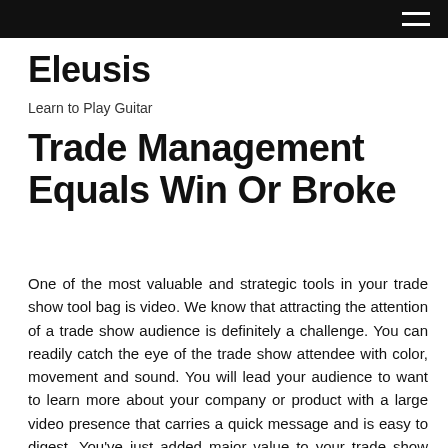Eleusis — Learn to Play Guitar [navigation bar]
Eleusis
Learn to Play Guitar
Trade Management Equals Win Or Broke
One of the most valuable and strategic tools in your trade show tool bag is video. We know that attracting the attention of a trade show audience is definitely a challenge. You can readily catch the eye of the trade show attendee with color, movement and sound. You will lead your audience to want to learn more about your company or product with a large video presence that carries a quick message and is easy to digest. You've just added major value to your trade show event if you...